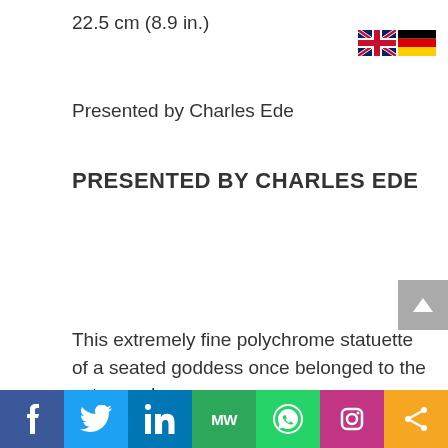22.5 cm (8.9 in.)
[Figure (illustration): UK and German flag icons in top right corner]
Presented by Charles Ede
PRESENTED BY CHARLES EDE
This extremely fine polychrome statuette of a seated goddess once belonged to the esteemed
[Figure (infographic): Social media sharing bar at bottom: Facebook, Twitter, LinkedIn, MW, WhatsApp, Instagram, Share]